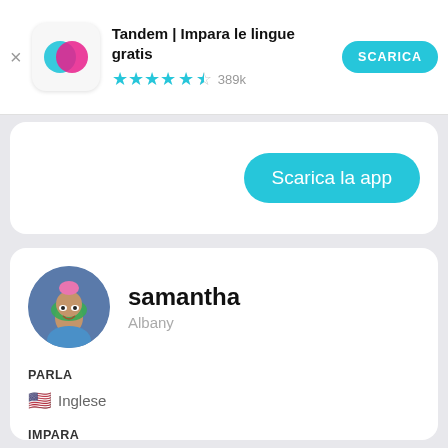[Figure (screenshot): Tandem app icon with teal and pink overlapping speech bubble circles on white rounded square background]
Tandem | Impara le lingue gratis
★★★★½ 389k
SCARICA
Scarica la app
[Figure (photo): Profile photo of samantha, a person wearing a green mask and pink headpiece, circular crop]
samantha
Albany
PARLA
🇺🇸 Inglese
IMPARA
🇪🇸 Spagnolo  •  Giapponese  🇰🇷 Coreano